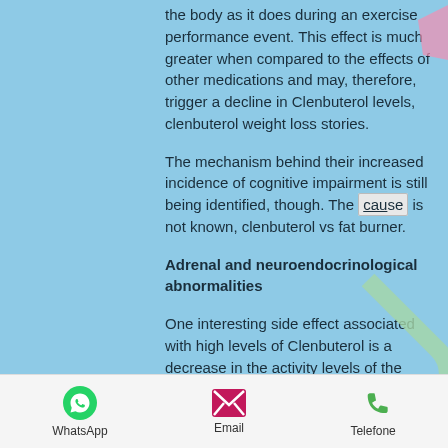the body as it does during an exercise performance event. This effect is much greater when compared to the effects of other medications and may, therefore, trigger a decline in Clenbuterol levels, clenbuterol weight loss stories.
The mechanism behind their increased incidence of cognitive impairment is still being identified, though. The cause is not known, clenbuterol vs fat burner.
Adrenal and neuroendocrinological abnormalities
One interesting side effect associated with high levels of Clenbuterol is a decrease in the activity levels of the adrenal glands and the levels of the related hormone Adrenaline
WhatsApp | Email | Telefone